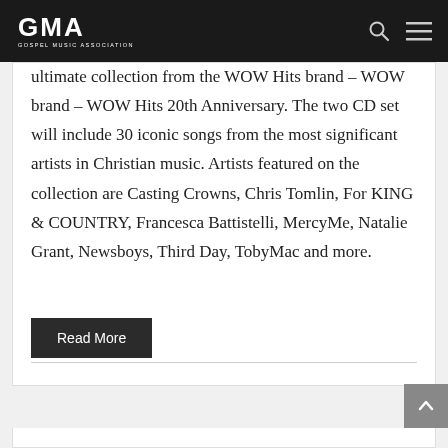GMA Gospel Music Association
ultimate collection from the WOW Hits brand – WOW Hits 20th Anniversary. The two CD set will include 30 iconic songs from the most significant artists in Christian music. Artists featured on the collection are Casting Crowns, Chris Tomlin, For KING & COUNTRY, Francesca Battistelli, MercyMe, Natalie Grant, Newsboys, Third Day, TobyMac and more.
Read More